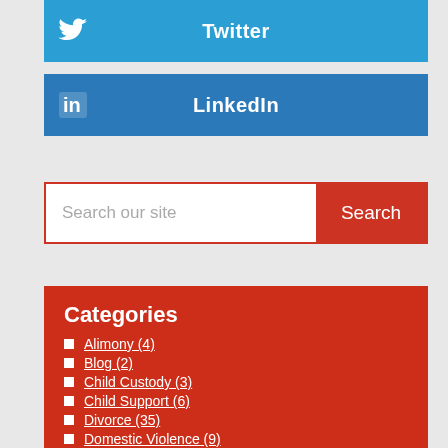[Figure (other): Twitter social share button with bird icon]
[Figure (other): LinkedIn social share button with 'in' icon]
[Figure (other): Search bar with text input 'Search our site' and red Search button]
Categories
Alimony (4)
Blog (2)
Child Custody (3)
Child Support (6)
Divorce (35)
Domestic Violence (9)
Family Law (6)
Firm News (1)
High-Asset Divorce (2)